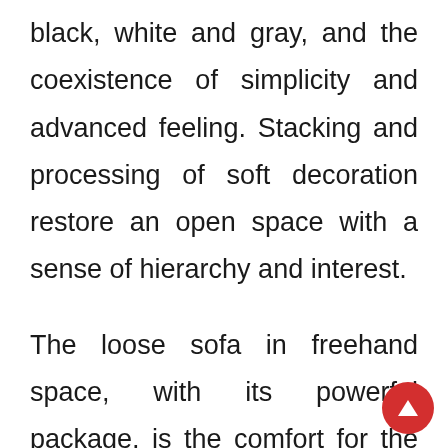black, white and gray, and the coexistence of simplicity and advanced feeling. Stacking and processing of soft decoration restore an open space with a sense of hierarchy and interest.
The loose sofa in freehand space, with its powerful package, is the comfort for the tired body in leisure time. The single seat Togo sofa with a strong sense of design, brings a harmonious